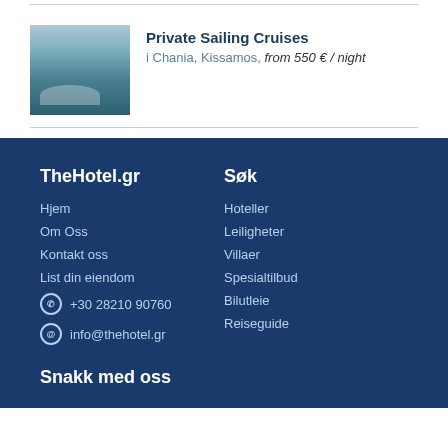[Figure (photo): Sailboat in harbor, Private Sailing Cruises listing thumbnail]
Private Sailing Cruises
i Chania, Kissamos, from 550 € / night
TheHotel.gr
Hjem
Om Oss
Kontakt oss
List din eiendom
+30 28210 90760
info@thehotel.gr
Søk
Hoteller
Leiligheter
Villaer
Spesialtilbud
Bilutleie
Reiseguide
Snakk med oss